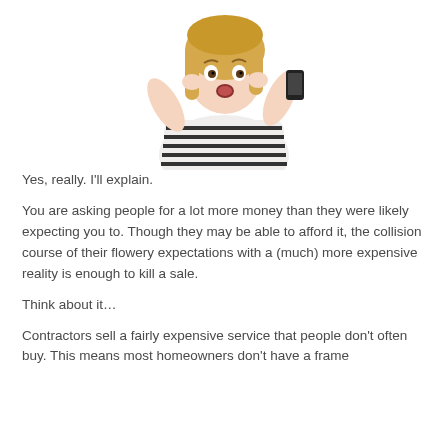[Figure (photo): Woman with blonde hair wearing a black and white striped shirt, holding a phone up to her face with a shocked/surprised expression, on a white background.]
Yes, really. I'll explain.
You are asking people for a lot more money than they were likely expecting you to. Though they may be able to afford it, the collision course of their flowery expectations with a (much) more expensive reality is enough to kill a sale.
Think about it…
Contractors sell a fairly expensive service that people don't often buy. This means most homeowners don't have a frame of reference for how much they should be paying. And...